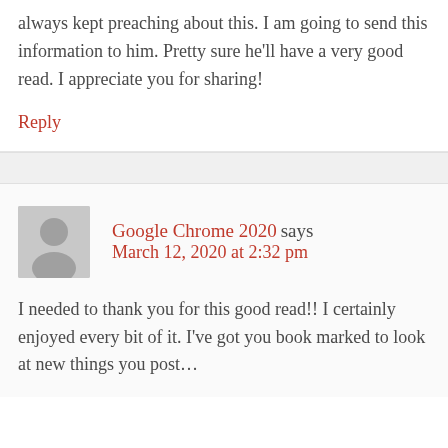always kept preaching about this. I am going to send this information to him. Pretty sure he'll have a very good read. I appreciate you for sharing!
Reply
Google Chrome 2020 says March 12, 2020 at 2:32 pm
I needed to thank you for this good read!! I certainly enjoyed every bit of it. I've got you book marked to look at new things you post…